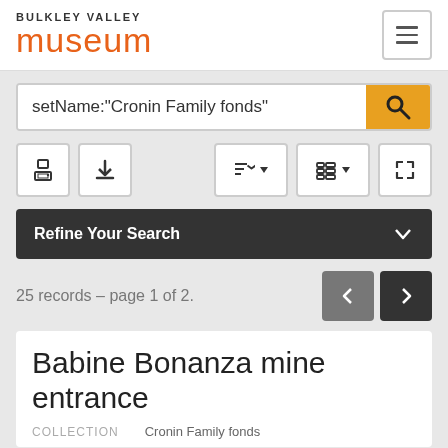[Figure (logo): Bulkley Valley Museum logo with orange 'museum' text]
setName:"Cronin Family fonds"
Refine Your Search
25 records – page 1 of 2.
Babine Bonanza mine entrance
COLLECTION    Cronin Family fonds